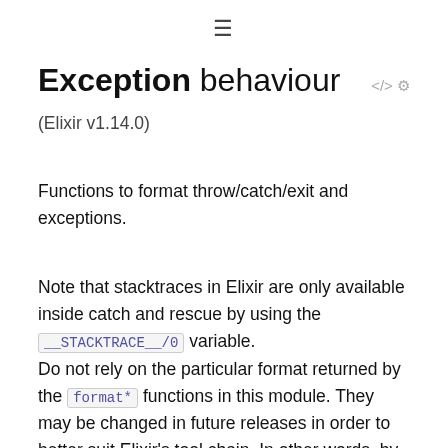≡
Exception behaviour
(Elixir v1.14.0)
Functions to format throw/catch/exit and exceptions.
Note that stacktraces in Elixir are only available inside catch and rescue by using the __STACKTRACE__/0 variable.
Do not rely on the particular format returned by the format* functions in this module. They may be changed in future releases in order to better suit Elixir's tool chain. In other words, by using the functions in this module it is guaranteed you